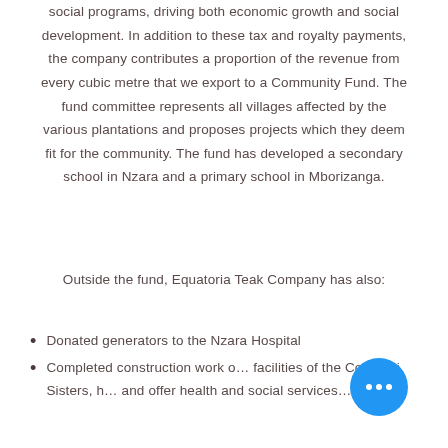social programs, driving both economic growth and social development. In addition to these tax and royalty payments, the company contributes a proportion of the revenue from every cubic metre that we export to a Community Fund. The fund committee represents all villages affected by the various plantations and proposes projects which they deem fit for the community. The fund has developed a secondary school in Nzara and a primary school in Mborizanga.
Outside the fund, Equatoria Teak Company has also:
Donated generators to the Nzara Hospital
Completed construction work on the facilities of the Comboni Sisters, to also offer health and social services...